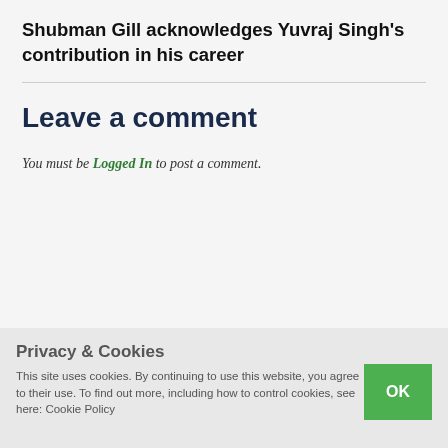Shubman Gill acknowledges Yuvraj Singh's contribution in his career
Leave a comment
You must be Logged In to post a comment.
Privacy & Cookies
This site uses cookies. By continuing to use this website, you agree to their use. To find out more, including how to control cookies, see here: Cookie Policy